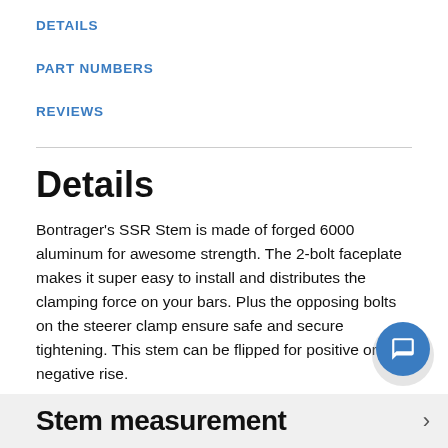DETAILS
PART NUMBERS
REVIEWS
Details
Bontrager's SSR Stem is made of forged 6000 aluminum for awesome strength. The 2-bolt faceplate makes it super easy to install and distributes the clamping force on your bars. Plus the opposing bolts on the steerer clamp ensure safe and secure tightening. This stem can be flipped for positive or negative rise.
Stem measurement